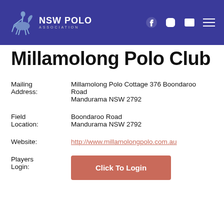NSW POLO ASSOCIATION
Millamolong Polo Club
Mailing Address: Millamolong Polo Cottage 376 Boondaroo Road, Mandurama NSW 2792
Field Location: Boondaroo Road, Mandurama NSW 2792
Website: http://www.millamolongpolo.com.au
Players Login: Click To Login